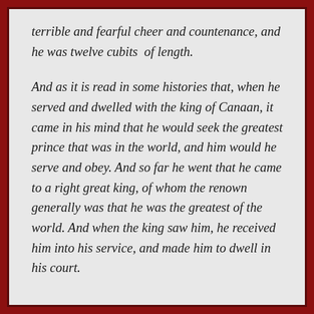terrible and fearful cheer and countenance, and he was twelve cubits of length.
And as it is read in some histories that, when he served and dwelled with the king of Canaan, it came in his mind that he would seek the greatest prince that was in the world, and him would he serve and obey. And so far he went that he came to a right great king, of whom the renown generally was that he was the greatest of the world. And when the king saw him, he received him into his service, and made him to dwell in his court.